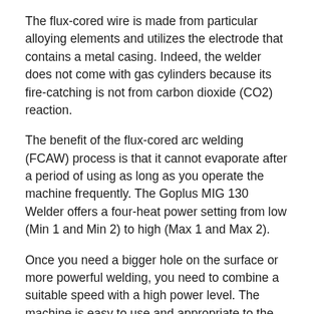The flux-cored wire is made from particular alloying elements and utilizes the electrode that contains a metal casing. Indeed, the welder does not come with gas cylinders because its fire-catching is not from carbon dioxide (CO2) reaction.
The benefit of the flux-cored arc welding (FCAW) process is that it cannot evaporate after a period of using as long as you operate the machine frequently. The Goplus MIG 130 Welder offers a four-heat power setting from low (Min 1 and Min 2) to high (Max 1 and Max 2).
Once you need a bigger hole on the surface or more powerful welding, you need to combine a suitable speed with a high power level. The machine is easy to use and appropriate to the ranges of construction tasks.
About the tools included, the Goplus manufacturer provides a 65” welding gun, 72.5” power cord, and extra welding wire for the replacement.
Denote that a long power cord is valuable since the welder is